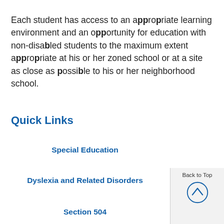Each student has access to an appropriate learning environment and an opportunity for education with non-disabled students to the maximum extent appropriate at his or her zoned school or at a site as close as possible to his or her neighborhood school.
Quick Links
Special Education
Dyslexia and Related Disorders
Section 504